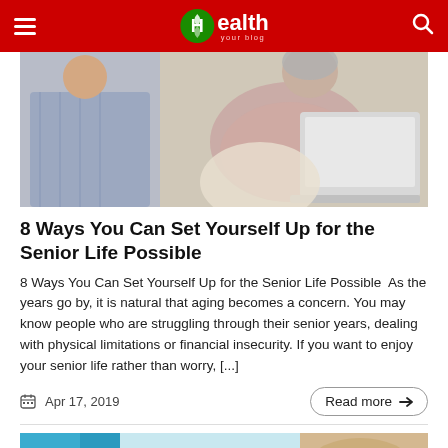Health (logo) — navigation header
[Figure (photo): Two elderly people (a man and a woman) looking at a laptop computer together]
8 Ways You Can Set Yourself Up for the Senior Life Possible
8 Ways You Can Set Yourself Up for the Senior Life Possible  As the years go by, it is natural that aging becomes a concern. You may know people who are struggling through their senior years, dealing with physical limitations or financial insecurity. If you want to enjoy your senior life rather than worry, [...]
Apr 17, 2019
[Figure (photo): Partial view of a second article image showing medical/health related content]